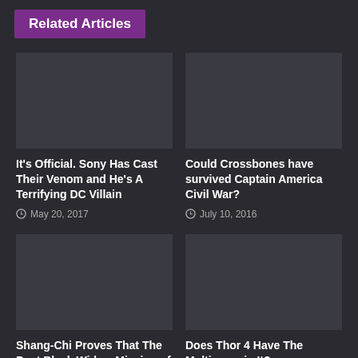Related Articles
It's Official. Sony Has Cast Their Venom and He's A Terrifying DC Villain
May 20, 2017
Could Crossbones have survived Captain America Civil War?
July 10, 2016
Shang-Chi Proves That The Post Black Widow Mission of Yelena Was Successful
Does Thor 4 Have The Multiverse in It?
June 29, 2022